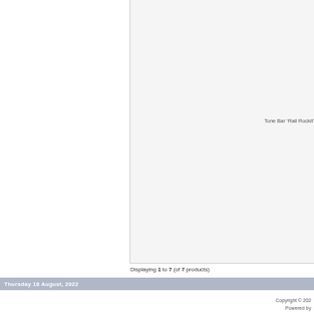Tone Bar ‘Rail Rockit’
Displaying 1 to 7 (of 7 products)
Thursday 18 August, 2022
Copyright © 202
Powered by